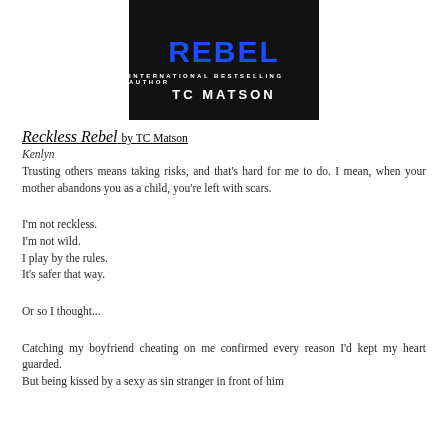[Figure (illustration): Book cover for 'Reckless Rebel' by TC Matson. Dark background with the word REBEL in large blue bold text, subtitle 'INTERNATIONAL BESTSELLING AUTHOR' in small white caps, and 'TC MATSON' in large white bold letters below.]
Reckless Rebel by TC Matson
Kenlyn
Trusting others means taking risks, and that's hard for me to do. I mean, when your mother abandons you as a child, you're left with scars.
I'm not reckless.
I'm not wild.
I play by the rules.
It's safer that way.
Or so I thought...
Catching my boyfriend cheating on me confirmed every reason I'd kept my heart guarded.
But being kissed by a sexy as sin stranger in front of him